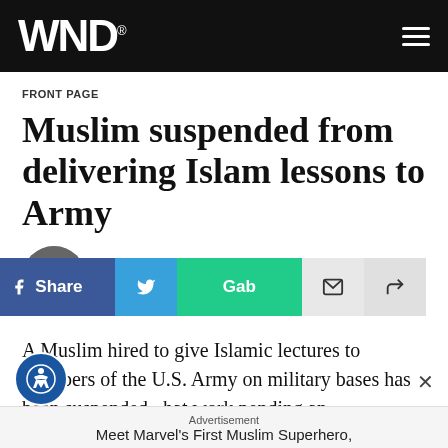WND
FRONT PAGE
Muslim suspended from delivering Islam lessons to Army
By WND Staff
Published February 16, 2010 at 10:11pm
[Figure (infographic): Social sharing buttons: Share (Facebook), Twitter bird icon, Gab, email envelope, share arrow]
A Muslim hired to give Islamic lectures to members of the U.S. Army on military bases has been suspended that work pending an investigation by the Naval
Advertisement
Meet Marvel's First Muslim Superhero,